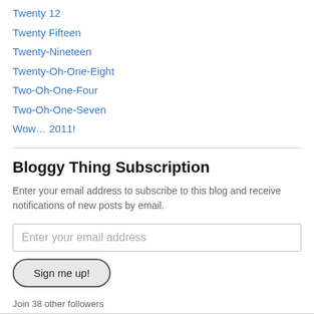Twenty 12
Twenty Fifteen
Twenty-Nineteen
Twenty-Oh-One-Eight
Two-Oh-One-Four
Two-Oh-One-Seven
Wow… 2011!
Bloggy Thing Subscription
Enter your email address to subscribe to this blog and receive notifications of new posts by email.
Enter your email address
Sign me up!
Join 38 other followers